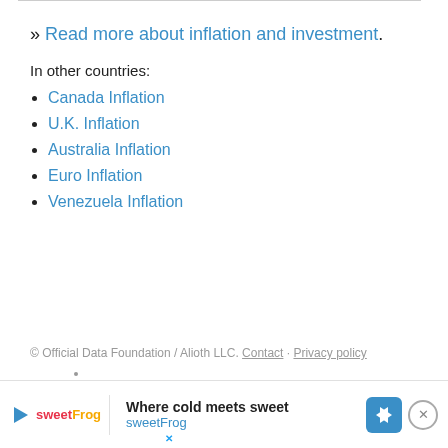» Read more about inflation and investment.
In other countries:
Canada Inflation
U.K. Inflation
Australia Inflation
Euro Inflation
Venezuela Inflation
© Official Data Foundation / Alioth LLC. Contact · Privacy policy
AN ELITE CAFEMEDIA FINANCE PUBLISHER
[Figure (other): Advertisement banner for sweetFrog: 'Where cold meets sweet sweetFrog' with play button logo, navigation arrow icon, and close button.]